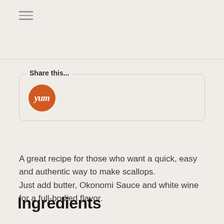[Figure (other): Hamburger menu icon with three horizontal lines]
Share this...
[Figure (logo): Orange circular Yum button with cursive 'yum' text in white]
A great recipe for those who want a quick, easy and authentic way to make scallops.
Just add butter, Okonomi Sauce and white wine for a full-bodied flavor.
Ingredients